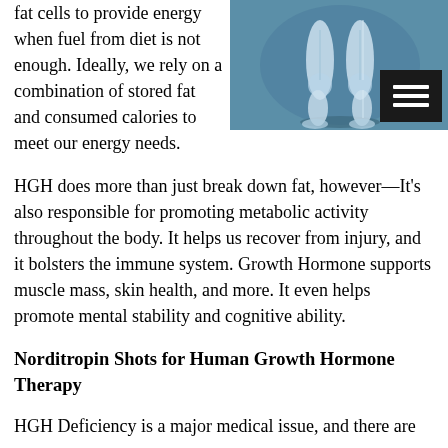fat cells to provide energy when fuel from diet is not enough. Ideally, we rely on a combination of stored fat and consumed calories to meet our energy needs.
[Figure (illustration): 3D medical illustration of human lower body (legs, muscles, skeleton) on a blue background, with a hamburger menu button overlay in the bottom-right corner]
HGH does more than just break down fat, however—It's also responsible for promoting metabolic activity throughout the body. It helps us recover from injury, and it bolsters the immune system. Growth Hormone supports muscle mass, skin health, and more. It even helps promote mental stability and cognitive ability.
Norditropin Shots for Human Growth Hormone Therapy
HGH Deficiency is a major medical issue, and there are